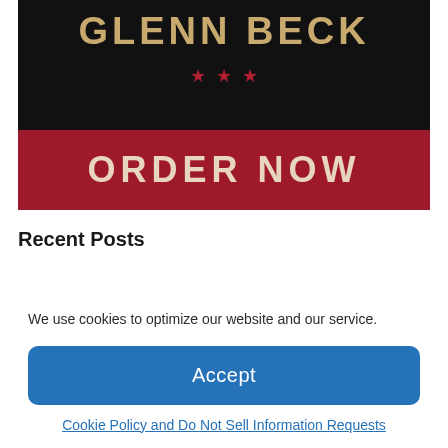[Figure (illustration): Book promotion banner with black background showing author name GLENN BECK in gold/tan letters with three red stars, and a dark red ORDER NOW band below]
Recent Posts
We use cookies to optimize our website and our service.
Accept
Cookie Policy and Do Not Sell Information Requests